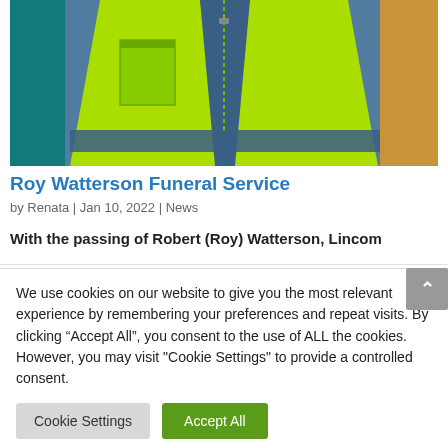[Figure (photo): Photo of a person wearing a bright yellow-green hi-visibility safety vest over a blue checked shirt, photographed from the chest up]
Roy Watterson Funeral Service
by Renata | Jan 10, 2022 | News
With the passing of Robert (Roy) Watterson, Lincom
We use cookies on our website to give you the most relevant experience by remembering your preferences and repeat visits. By clicking “Accept All”, you consent to the use of ALL the cookies. However, you may visit "Cookie Settings" to provide a controlled consent.